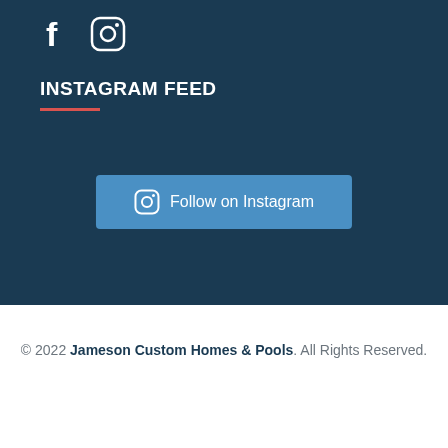[Figure (logo): Facebook and Instagram social media icons in white on dark navy background]
INSTAGRAM FEED
[Figure (other): Red horizontal underline beneath Instagram Feed heading]
[Figure (other): Follow on Instagram button with Instagram icon, light blue rounded rectangle]
© 2022 Jameson Custom Homes & Pools. All Rights Reserved.